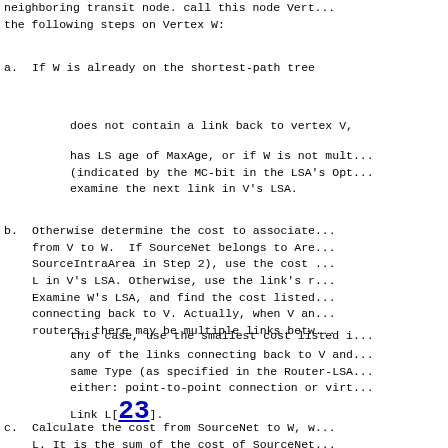neighboring transit node. call this node Vert... the following steps on Vertex W:
a.  If W is already on the shortest-path tree...
does not contain a link back to vertex V,
has LS age of MaxAge, or if W is not mult... (indicated by the MC-bit in the LSA's Opt... examine the next link in V's LSA.
b.  Otherwise determine the cost to associate... from V to W.  If SourceNet belongs to Are... SourceIntraArea in Step 2), use the cost ... L in V's LSA. Otherwise, use the link's r... Examine W's LSA, and find the cost listed... connecting back to V. Actually, when V an... routers, there may be multiple links betw...
this case, use the smallest cost listed i...
any of the links connecting back to V and... same Type (as specified in the Router-LSA... either: point-to-point connection or virt...
Link L[23].
c.  Calculate the cost from SourceNet to W, w... L. It is the sum of the cost of SourceNet... V's Cost parameter) plus the link cost...